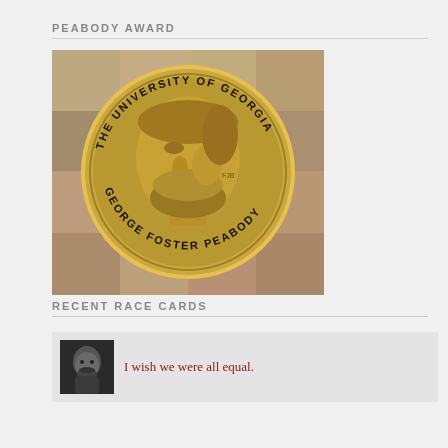PEABODY AWARD
[Figure (photo): Gold Peabody Award medal showing profile of George Foster Peabody with text 'THE UNIVERSITY OF GEORGIA' and 'GEORGE FOSTER PEABODY' around the edge, set against a collage of faces background.]
RECENT RACE CARDS
[Figure (photo): Small black and white avatar photo of a man with a beard.]
I wish we were all equal.